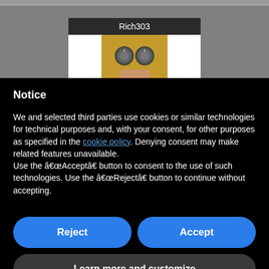[Figure (screenshot): Gray background with a profile card showing username Rich303 and a close-up photo of audio equipment knobs on a golden/brass surface]
Notice
We and selected third parties use cookies or similar technologies for technical purposes and, with your consent, for other purposes as specified in the cookie policy. Denying consent may make related features unavailable.
Use the “Accept” button to consent to the use of such technologies. Use the “Reject” button to continue without accepting.
Reject
Accept
Learn more and customize